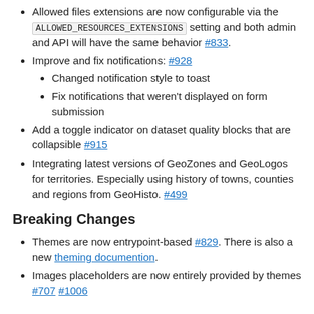Allowed files extensions are now configurable via the ALLOWED_RESOURCES_EXTENSIONS setting and both admin and API will have the same behavior #833.
Improve and fix notifications: #928
Changed notification style to toast
Fix notifications that weren't displayed on form submission
Add a toggle indicator on dataset quality blocks that are collapsible #915
Integrating latest versions of GeoZones and GeoLogos for territories. Especially using history of towns, counties and regions from GeoHisto. #499
Breaking Changes
Themes are now entrypoint-based #829. There is also a new theming documention.
Images placeholders are now entirely provided by themes #707 #1006